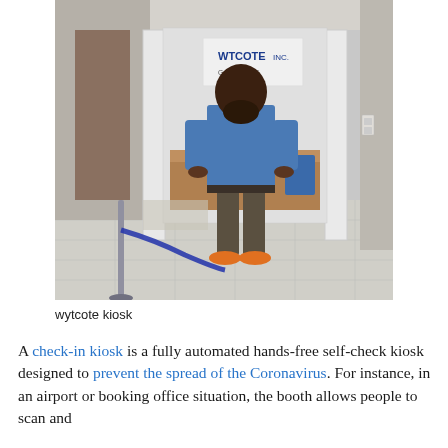[Figure (photo): A person standing with their back to the camera inside a white check-in kiosk booth. The person is wearing a blue denim shirt, dark pants, and orange sneakers. A blue stanchion rope is visible in the foreground. Inside the kiosk is a screen showing 'WYTCOTE INC.' signage. The setting appears to be an indoor lobby or office space with marble flooring.]
wytcote kiosk
A check-in kiosk is a fully automated hands-free self-check kiosk designed to prevent the spread of the Coronavirus. For instance, in an airport or booking office situation, the booth allows people to scan and